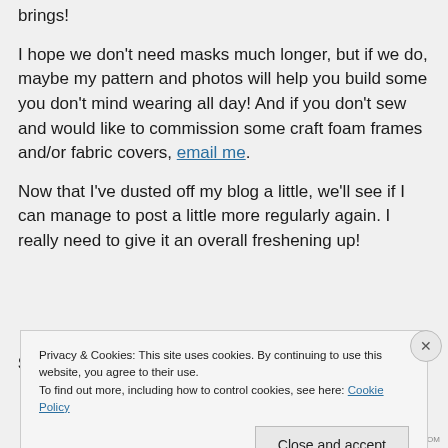brings!
I hope we don't need masks much longer, but if we do, maybe my pattern and photos will help you build some you don't mind wearing all day! And if you don't sew and would like to commission some craft foam frames and/or fabric covers, email me.
Now that I've dusted off my blog a little, we'll see if I can manage to post a little more regularly again. I really need to give it an overall freshening up!
Privacy & Cookies: This site uses cookies. By continuing to use this website, you agree to their use. To find out more, including how to control cookies, see here: Cookie Policy
Close and accept